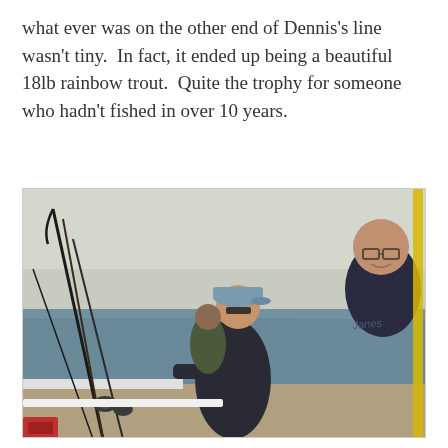what ever was on the other end of Dennis's line wasn't tiny. In fact, it ended up being a beautiful 18lb rainbow trout. Quite the trophy for someone who hadn't fished in over 10 years.
[Figure (photo): People on a fishing boat on open water. A man in a blue cap and sunglasses holds a bent fishing rod, actively reeling in a catch. A younger man with glasses and a dark hoodie is visible on the right. Multiple fishing rods are visible in the foreground. The sky is hazy and the water is calm.]